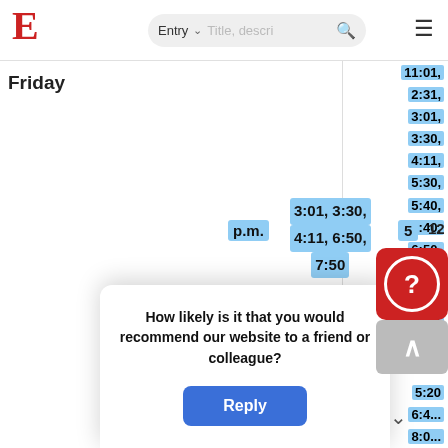E  Entry  Title, descri... [search] [menu]
Friday
p.m.
3:01, 3:30, 4:11, 6:50, 7:50
5
12
11:01, 2:31, 3:01, 3:30, 4:11, 5:30, 5:40, 6:40, 6:50, 7:50, 9:20, 11:40
5:20
6:4...
8:0...
6:40, 8:01,
20,
7
Saturd
01,
[Figure (screenshot): Survey popup overlay asking 'How likely is it that you would recommend our website to a friend or colleague?' with a blue Reply button]
[Figure (other): Red help button with white question mark circle icon]
[Figure (other): Gray scroll-to-top button with white upward arrow]